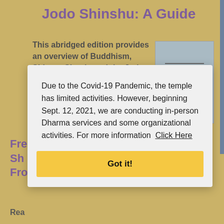Jodo Shinshu: A Guide
This abridged edition provides an overview of Buddhism, Shinran Shonin and the Jodo Shinshu teaching.
[Figure (illustration): Book cover for 'Jodo Shinshu: A Guide' in light blue with text JODO SHINSHU A GUIDE]
This downloadable PDF is made available by the Buddhist
Fre
Sh
Fro
Rea
Due to the Covid-19 Pandemic, the temple has limited activities. However, beginning Sept. 12, 2021, we are conducting in-person Dharma services and some organizational activities. For more information  Click Here
Got it!